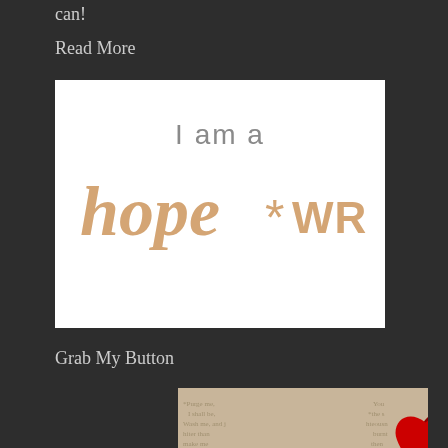can!
Read More
[Figure (logo): I am a hope*WRITER logo on white background with tan/gold script lettering]
Grab My Button
[Figure (illustration): My heart, His Words button image with red heart over vintage Bible page background with cursive white text]